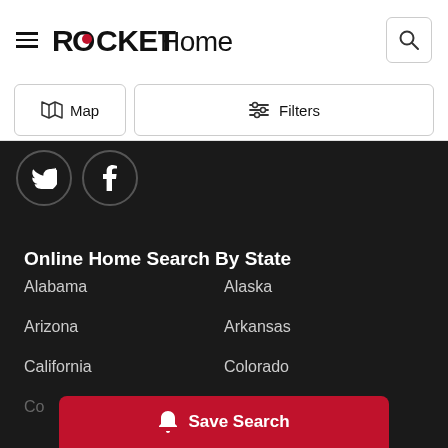ROCKET Homes
Map   Filters
[Figure (illustration): Twitter and Facebook social media icons in white on dark background]
Online Home Search By State
Alabama
Alaska
Arizona
Arkansas
California
Colorado
Co...
Save Search